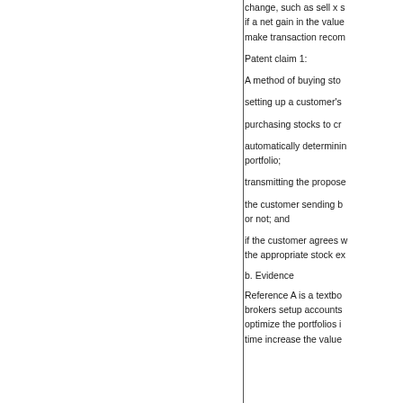change, such as sell x s if a net gain in the value make transaction recom
Patent claim 1:
A method of buying sto
setting up a customer's
purchasing stocks to cr
automatically determinin portfolio;
transmitting the propose
the customer sending b or not; and
if the customer agrees w the appropriate stock ex
b. Evidence
Reference A is a textbo brokers setup accounts optimize the portfolios i time increase the value